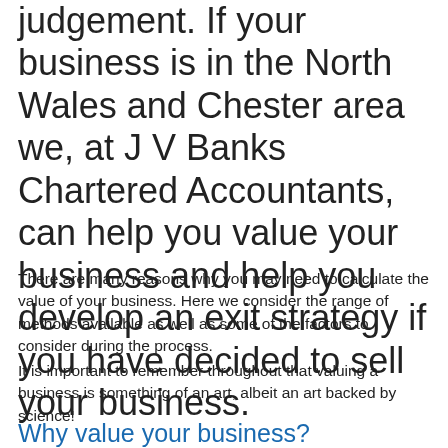judgement. If your business is in the North Wales and Chester area we, at J V Banks Chartered Accountants, can help you value your business and help you develop an exit strategy if you have decided to sell your business.
There are many reasons why you may need to calculate the value of your business. Here we consider the range of methods available as well as some of the factors to consider during the process.
It is important to remember throughout that valuing a business is something of an art, albeit an art backed by science!
Why value your business?